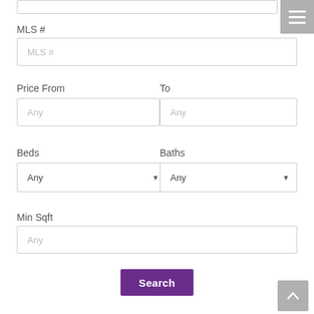MLS #
MLS #
Price From
To
Any
Any
Beds
Baths
Any
Any
Min Sqft
Any
Search